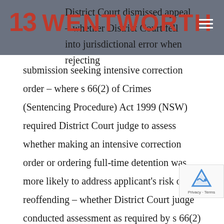13 WENTWORTH
District Court dismissed appeal – whether District Court fell into jurisdictional error when rejecting submission seeking intensive correction order – where s 66(2) of Crimes (Sentencing Procedure) Act 1999 (NSW) required District Court judge to assess whether making an intensive correction order or ordering full-time detention was more likely to address applicant's risk of reoffending – whether District Court judge conducted assessment as required by s 66(2) – where s 66(1) expresses that community safety is paramount consideration in deciding whether to make an intensive correction order – whether failure to conduct assessment contemplated by s 66(2) amounted to jurisdictional error